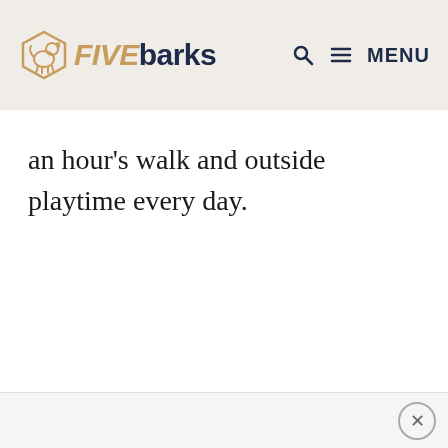FIVEbarks — MENU
an hour's walk and outside playtime every day.